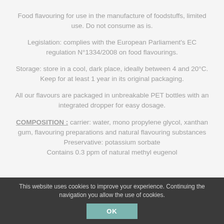Food flavouring for use in the manufacture of foodstuffs, limited use. Do not consume as is.
Legislation: complies with the European Parliament's EC regulation N°1334/2008 on food flavourings.
Storage: store in a cool, dark place, ideally between 4 and 20°C. Keep for at least 1 year in its original packaging.
All our flavours are packaged in unbreakable PET bottles with an integrated dropper for easy dosage.
COMPOSITION : carrier: water, mono propylene glycol, xanthan gum, flavouring preparations and natural flavouring substances
Preservative: potassium sorbate
Contains 0.3 ppm of natural methyl eugenol
This website uses cookies to improve your experience. Continuing the navigation you allow the use of cookies. OK